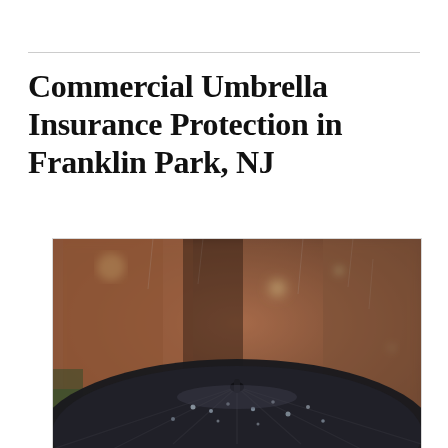Commercial Umbrella Insurance Protection in Franklin Park, NJ
[Figure (photo): Close-up photograph of a wet black umbrella in rain, with a blurred urban alley background featuring brick buildings and bokeh lights]